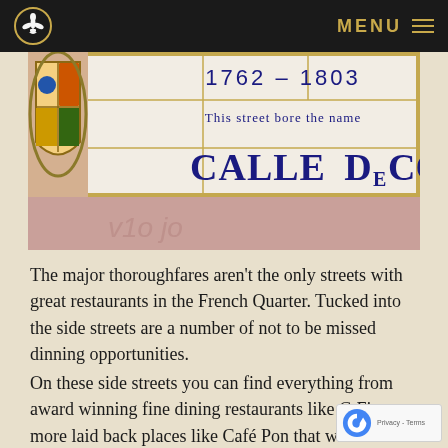MENU
[Figure (photo): A tiled historical street sign showing '1762 – 1803 / This street bore the name / CALLE DE CONTI' with a Spanish coat of arms on the left side, mounted on a pink wall.]
The major thoroughfares aren't the only streets with great restaurants in the French Quarter. Tucked into the side streets are a number of not to be missed dinning opportunities.
On these side streets you can find everything from award winning fine dining restaurants like G Finns to more laid back places like Café Pon that will be sure to satisfy your craving for Cajun